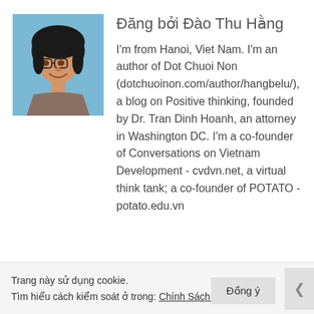Đăng bởi Đào Thu Hằng
[Figure (photo): Profile photo of Đào Thu Hằng, a woman with short dark hair and glasses, smiling, against a blue background]
I'm from Hanoi, Viet Nam. I'm an author of Dot Chuoi Non (dotchuoinon.com/author/hangbelu/), a blog on Positive thinking, founded by Dr. Tran Dinh Hoanh, an attorney in Washington DC. I'm a co-founder of Conversations on Vietnam Development - cvdvn.net, a virtual think tank; a co-founder of POTATO - potato.edu.vn
Trang này sử dụng cookie.
Tìm hiểu cách kiểm soát ở trong: Chính Sách Cookie